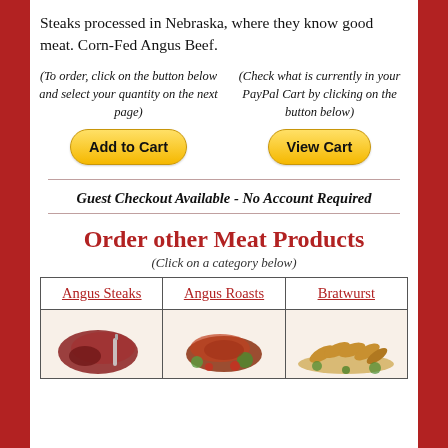Steaks processed in Nebraska, where they know good meat. Corn-Fed Angus Beef.
(To order, click on the button below and select your quantity on the next page)
(Check what is currently in your PayPal Cart by clicking on the button below)
Add to Cart
View Cart
Guest Checkout Available - No Account Required
Order other Meat Products
(Click on a category below)
| Angus Steaks | Angus Roasts | Bratwurst |
| --- | --- | --- |
| [steak image] | [roast image] | [bratwurst image] |